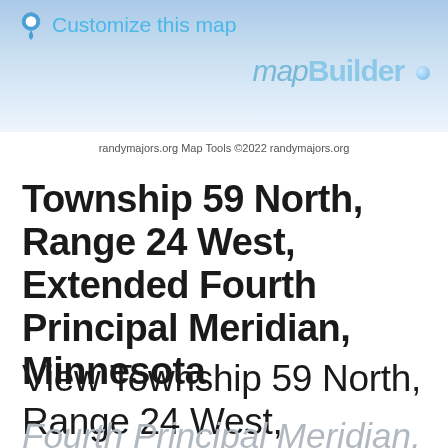[Figure (screenshot): mapBuilder banner with 'Customize this map' link and mapBuilder logo with blue dot]
randymajors.org Map Tools ©2022 randymajors.org
Township 59 North, Range 24 West, Extended Fourth Principal Meridian, Minnesota
View Township 59 North, Range 24 West, Extended Fourth Principal Meridian, Minnesota Section Township